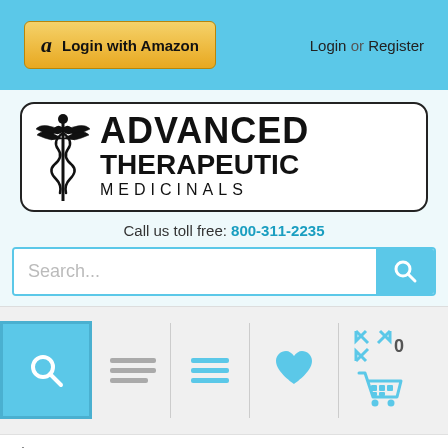Login with Amazon | Login or Register
[Figure (logo): Advanced Therapeutic Medicinals logo with caduceus symbol inside a rounded rectangle border]
Call us toll free: 800-311-2235
[Figure (screenshot): Search bar with placeholder text 'Search...' and blue search button]
[Figure (screenshot): Navigation icon bar with search, menu, list, heart/wishlist, compress/0 icons and shopping cart]
Home / PGX WeightLoss Meal Replacement Very Strawberry